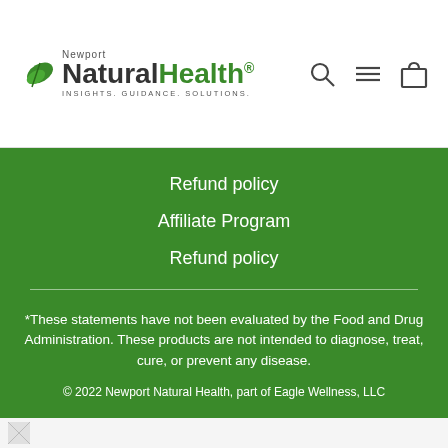[Figure (logo): Newport Natural Health logo with green leaf, 'Natural' in dark text, 'Health' in green, registered trademark symbol, tagline INSIGHTS. GUIDANCE. SOLUTIONS.]
[Figure (other): Navigation icons: search magnifier, hamburger menu, shopping bag]
Refund policy
Affiliate Program
Refund policy
*These statements have not been evaluated by the Food and Drug Administration. These products are not intended to diagnose, treat, cure, or prevent any disease.
© 2022 Newport Natural Health, part of Eagle Wellness, LLC